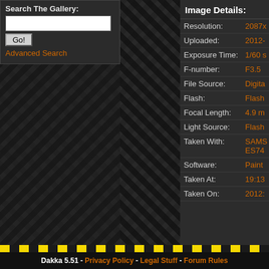Search The Gallery:
Advanced Search
[Figure (screenshot): Dark herringbone/diamond plate textured background panel on the left and middle sections]
Image Details:
| Property | Value |
| --- | --- |
| Resolution: | 2087x |
| Uploaded: | 2012- |
| Exposure Time: | 1/60 s |
| F-number: | F3.5 |
| File Source: | Digita |
| Flash: | Flash |
| Focal Length: | 4.9 m |
| Light Source: | Flash |
| Taken With: | SAMS ES74 |
| Software: | Paint |
| Taken At: | 19:13 |
| Taken On: | 2012: |
Dakka 5.51 - Privacy Policy - Legal Stuff - Forum Rules